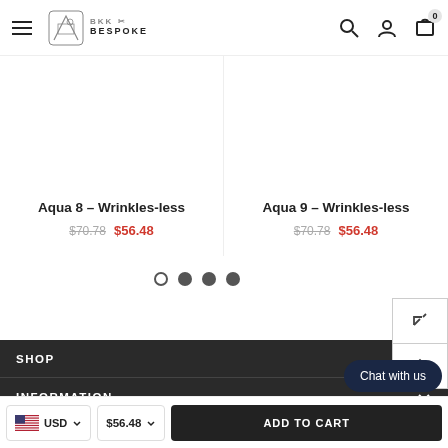BKK BESPOKE — navigation header with menu, logo, search, account, cart (0)
Aqua 8 - Wrinkles-less
$70.78  $56.48
Aqua 9 - Wrinkles-less
$70.78  $56.48
[Figure (other): Carousel pagination dots: 4 dots, first is outline/empty, dots 2-4 are filled dark grey]
SHOP
INFORMATION
ABOUT US
Chat with us
USD  $56.48  ADD TO CART